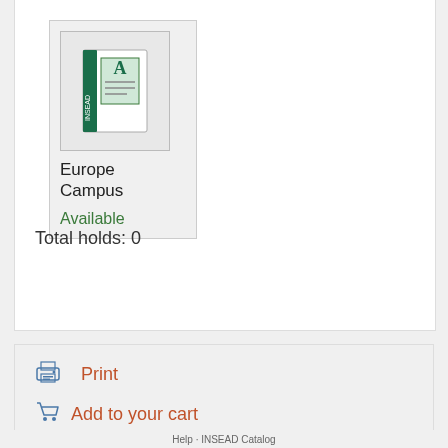[Figure (screenshot): INSEAD library item card showing Europe Campus with Available status]
Europe Campus
Available
Total holds: 0
Print
Add to your cart
Save record ▼
More searches ▼